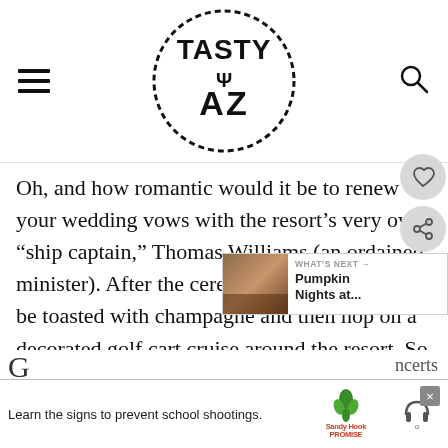TASTY AZ (logo with hamburger menu and search icon)
Oh, and how romantic would it be to renew your wedding vows with the resort’s very own “ship captain,” Thomas Williams (an ordained minister). After the ceremony, the couple will be toasted with champagne and then hop on a decorated golf cart cruise around the resort. So cute! Contact the Princess’ Concierge Desk for details at 480-585-4848, Ext.
[Figure (screenshot): What's Next box with photo thumbnail and text 'Pumpkin Nights at...']
[Figure (screenshot): Ad bar: Learn the signs to prevent school shootings. Sandy Hook Promise logo.]